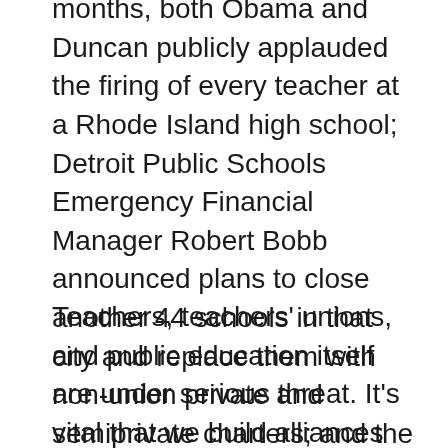months, both Obama and Duncan publicly applauded the firing of every teacher at a Rhode Island high school; Detroit Public Schools Emergency Financial Manager Robert Bobb announced plans to close another 44 schools in that city and replace them with non-union private and semiprivate charters; and the Florida legislature voted to eliminate teacher tenure entirely and revoke credentials based on standardized test scores.
Teachers, teachers' unions, and public education itself are under serious threat. It's vital that we build alliances with everyone who stands to lose from these assaults on